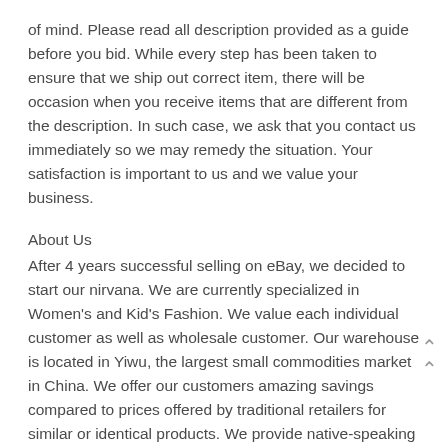of mind. Please read all description provided as a guide before you bid. While every step has been taken to ensure that we ship out correct item, there will be occasion when you receive items that are different from the description. In such case, we ask that you contact us immediately so we may remedy the situation. Your satisfaction is important to us and we value your business.
About Us
After 4 years successful selling on eBay, we decided to start our nirvana. We are currently specialized in Women's and Kid's Fashion. We value each individual customer as well as wholesale customer. Our warehouse is located in Yiwu, the largest small commodities market in China. We offer our customers amazing savings compared to prices offered by traditional retailers for similar or identical products. We provide native-speaking customer service English, French and Chinese.
Do not hesitate to contact us any time before and after